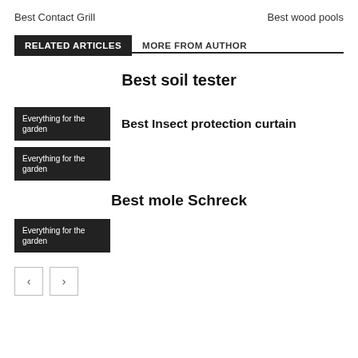Best Contact Grill
Best wood pools
RELATED ARTICLES
MORE FROM AUTHOR
Best soil tester
[Figure (other): Thumbnail label reading 'Everything for the garden' on dark background]
Best Insect protection curtain
[Figure (other): Thumbnail label reading 'Everything for the garden' on dark background]
Best mole Schreck
[Figure (other): Thumbnail label reading 'Everything for the garden' on dark background]
< >